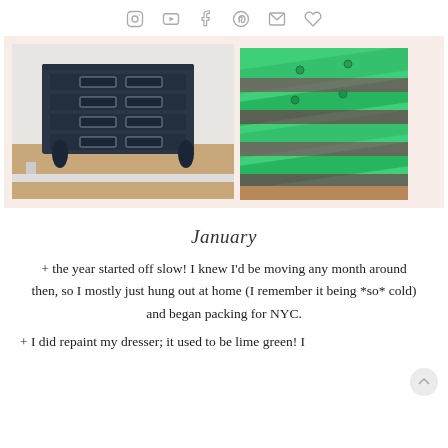Icons: Instagram, YouTube, Tumblr, Pinterest, Email, Heart
[Figure (photo): Two photos side by side on a pink/peach background: left shows a navy blue painted dresser with ornate legs and brass label-holder hardware on drawers, right shows a close-up of lime green painted dresser drawers with floral lining paper visible]
January
+ the year started off slow! I knew I'd be moving any month around then, so I mostly just hung out at home (I remember it being *so* cold) and began packing for NYC.
+ I did repaint my dresser; it used to be lime green! I